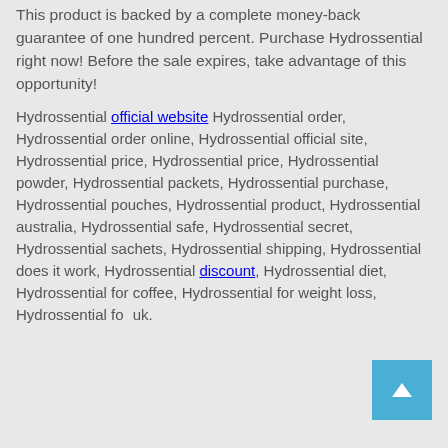This product is backed by a complete money-back guarantee of one hundred percent. Purchase Hydrossential right now! Before the sale expires, take advantage of this opportunity!
Hydrossential official website Hydrossential order, Hydrossential order online, Hydrossential official site, Hydrossential price, Hydrossential price, Hydrossential powder, Hydrossential packets, Hydrossential purchase, Hydrossential pouches, Hydrossential product, Hydrossential australia, Hydrossential safe, Hydrossential secret, Hydrossential sachets, Hydrossential shipping, Hydrossential does it work, Hydrossential discount, Hydrossential diet, Hydrossential for coffee, Hydrossential for weight loss, Hydrossential for uk.